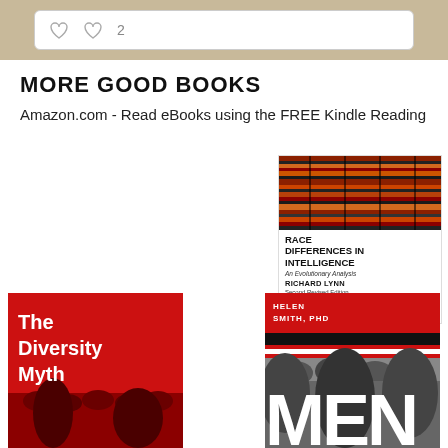[Figure (screenshot): Social media interaction bar with comment and heart icons, heart count showing 2]
MORE GOOD BOOKS
Amazon.com - Read eBooks using the FREE Kindle Reading
[Figure (photo): Book cover: Race Differences in Intelligence, An Evolutionary Analysis, by Richard Lynn, Second Revised Edition]
App on Most Devices
[Figure (photo): Library book spines with digital binary code overlay]
[Figure (photo): Book cover: The Diversity Myth, red cover with people in background]
[Figure (photo): Book cover by Helen Smith, PhD, red cover with MEN title and crowd image]